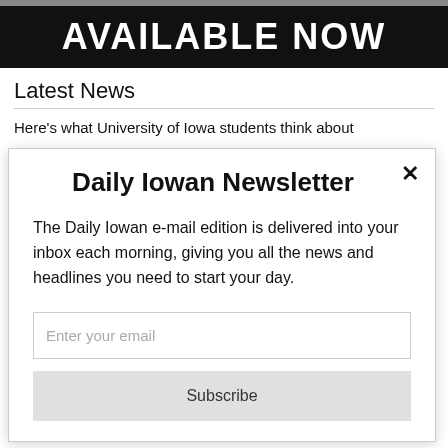AVAILABLE NOW
Latest News
Here's what University of Iowa students think about
Daily Iowan Newsletter
The Daily Iowan e-mail edition is delivered into your inbox each morning, giving you all the news and headlines you need to start your day.
Enter your email
Subscribe